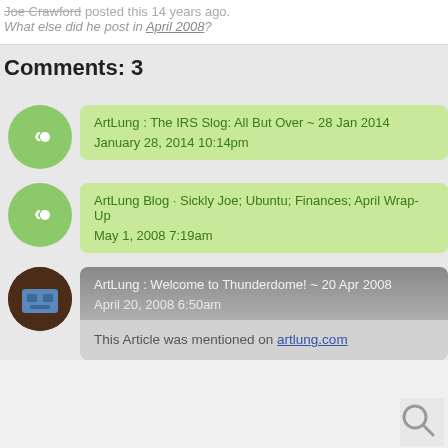Joe Crawford posted this 14 years ago. What else did he post in April 2008?
Comments: 3
ArtLung : The IRS Slog: All But Over ~ 28 Jan 2014
January 28, 2014 10:14pm
ArtLung Blog · Sickly Joe; Ubuntu; Finances; April Wrap-Up
May 1, 2008 7:19am
ArtLung : Welcome to Thunderdome! ~ 20 Apr 2008
April 20, 2008 6:50am
This Article was mentioned on artlung.com